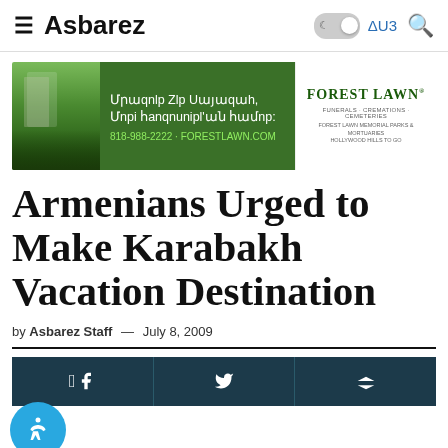≡ Asbarez — ΔU3 🔍
[Figure (infographic): Forest Lawn advertisement banner in green with Armenian text, phone number 818-988-2222, ForestLawn.com, and Forest Lawn logo]
Armenians Urged to Make Karabakh Vacation Destination
by Asbarez Staff — July 8, 2009